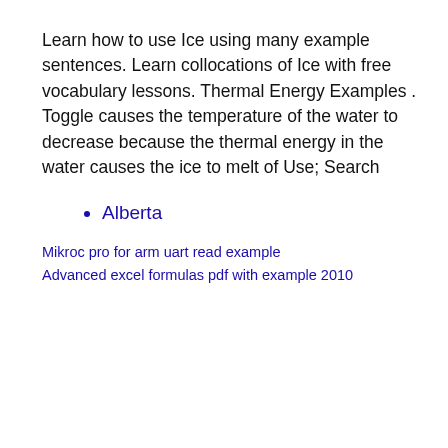Learn how to use Ice using many example sentences. Learn collocations of Ice with free vocabulary lessons. Thermal Energy Examples . Toggle causes the temperature of the water to decrease because the thermal energy in the water causes the ice to melt of Use; Search
Alberta
Mikroc pro for arm uart read example
Advanced excel formulas pdf with example 2010